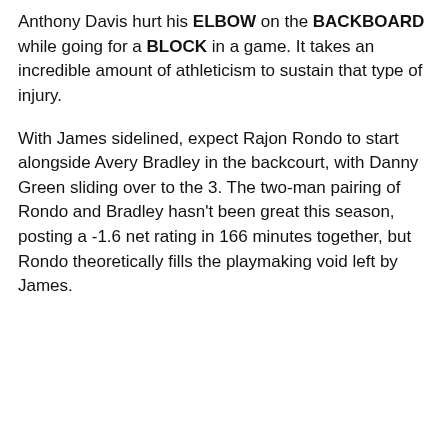Anthony Davis hurt his ELBOW on the BACKBOARD while going for a BLOCK in a game. It takes an incredible amount of athleticism to sustain that type of injury.
With James sidelined, expect Rajon Rondo to start alongside Avery Bradley in the backcourt, with Danny Green sliding over to the 3. The two-man pairing of Rondo and Bradley hasn't been great this season, posting a -1.6 net rating in 166 minutes together, but Rondo theoretically fills the playmaking void left by James.